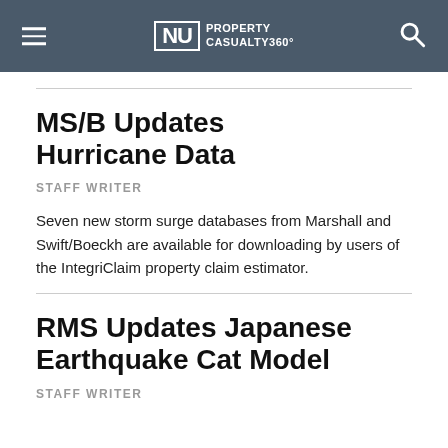NU PROPERTY CASUALTY 360°
MS/B Updates Hurricane Data
STAFF WRITER
Seven new storm surge databases from Marshall and Swift/Boeckh are available for downloading by users of the IntegriClaim property claim estimator.
RMS Updates Japanese Earthquake Cat Model
STAFF WRITER